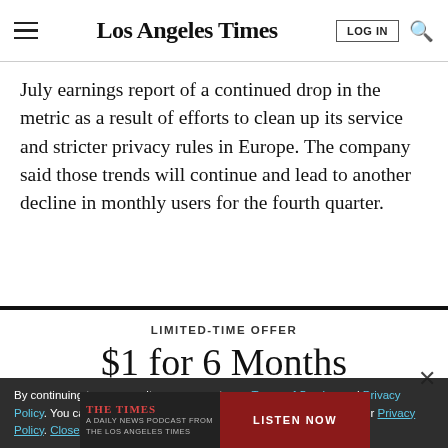Los Angeles Times
July earnings report of a continued drop in the metric as a result of efforts to clean up its service and stricter privacy rules in Europe. The company said those trends will continue and lead to another decline in monthly users for the fourth quarter.
$1 for 6 Months
LIMITED-TIME OFFER
SUBSCRIBE NOW
By continuing to use our site, you agree to our Terms of Service and Privacy Policy. You can learn more about how we use cookies by reviewing our Privacy Policy. Close